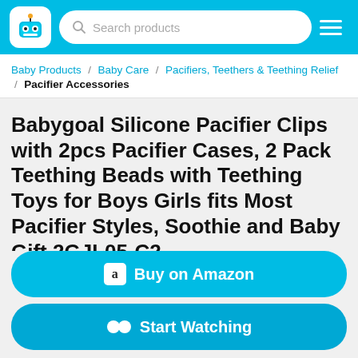[Figure (screenshot): E-commerce product listing page screenshot showing navigation bar with robot logo, search bar, breadcrumb navigation, product title, partial price and rating, and action buttons.]
Search products
Baby Products / Baby Care / Pacifiers, Teethers & Teething Relief / Pacifier Accessories
Babygoal Silicone Pacifier Clips with 2pcs Pacifier Cases, 2 Pack Teething Beads with Teething Toys for Boys Girls fits Most Pacifier Styles, Soothie and Baby Gift 2GJL05-C2
Buy on Amazon
Start Watching